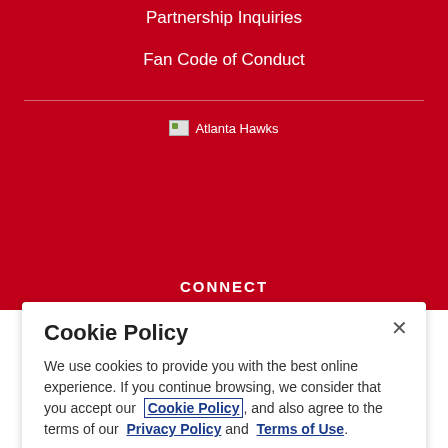Partnership Inquiries
Fan Code of Conduct
[Figure (logo): Atlanta Hawks logo placeholder image]
CONNECT
Cookie Policy
We use cookies to provide you with the best online experience. If you continue browsing, we consider that you accept our Cookie Policy, and also agree to the terms of our Privacy Policy and Terms of Use.
I Accept